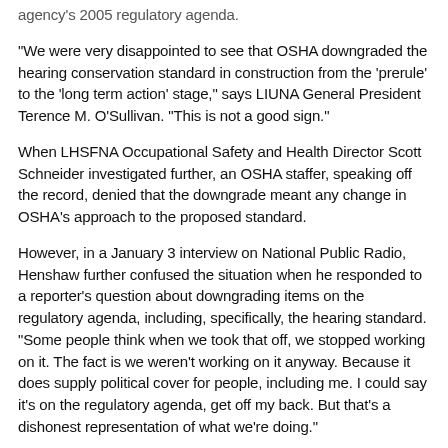agency's 2005 regulatory agenda.
"We were very disappointed to see that OSHA downgraded the hearing conservation standard in construction from the 'prerule' to the 'long term action' stage," says LIUNA General President Terence M. O'Sullivan. "This is not a good sign."
When LHSFNA Occupational Safety and Health Director Scott Schneider investigated further, an OSHA staffer, speaking off the record, denied that the downgrade meant any change in OSHA's approach to the proposed standard.
However, in a January 3 interview on National Public Radio, Henshaw further confused the situation when he responded to a reporter's question about downgrading items on the regulatory agenda, including, specifically, the hearing standard. "Some people think when we took that off, we stopped working on it. The fact is we weren't working on it anyway. Because it does supply political cover for people, including me. I could say it's on the regulatory agenda, get off my back. But that's a dishonest representation of what we're doing."